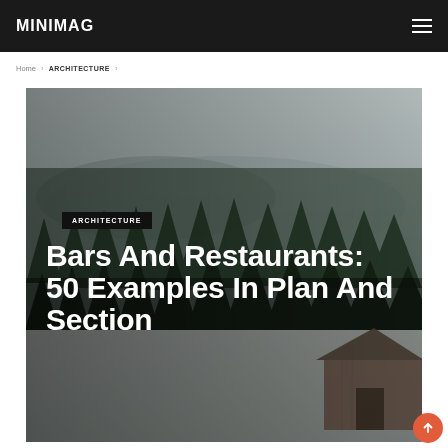MINIMAG
Home > ARCHITECTURE >
[Figure (photo): Aerial forest landscape with dark green pine trees, snowy ground, overcast sky, and a wooden barn/cabin visible in the lower right corner. Moody, cold-toned outdoor scene.]
ARCHITECTURE
Bars And Restaurants: 50 Examples In Plan And Section